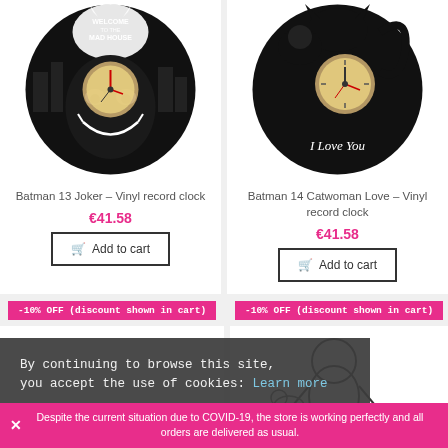[Figure (photo): Vinyl record clock with Joker / Welcome to the Mad House design, black and white, with clock mechanism in center]
Batman 13 Joker - Vinyl record clock
€41.58
Add to cart
[Figure (photo): Vinyl record clock with Catwoman Love design, black silhouette with I Love You text, clock mechanism in center]
Batman 14 Catwoman Love - Vinyl record clock
€41.58
Add to cart
-10% OFF (discount shown in cart)
-10% OFF (discount shown in cart)
[Figure (photo): Partial view of another vinyl record clock product at bottom right]
By continuing to browse this site, you accept the use of cookies: Learn more
Despite the current situation due to COVID-19, the store is working perfectly and all orders are delivered as usual.